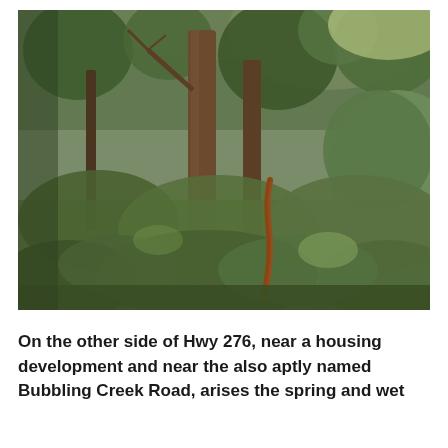[Figure (photo): Outdoor woodland/wetland scene showing trees including tall bare-trunked trees and dense shrubby undergrowth with green foliage, ferns, and brambles. Light filters through the canopy from the upper right. A curved rusty metal post or pipe is visible in the mid-ground. The area appears to be a wooded wetland or spring area.]
On the other side of Hwy 276, near a housing development and near the also aptly named Bubbling Creek Road, arises the spring and wet